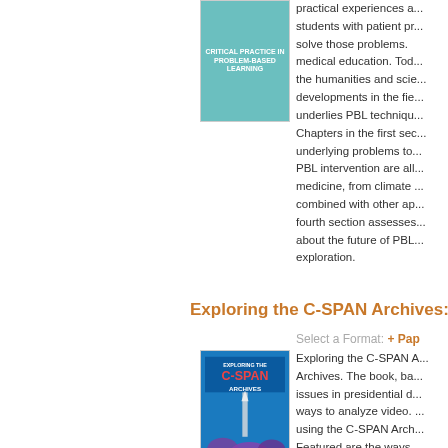[Figure (photo): Book cover for a problem-based learning textbook with teal/blue design]
practical experiences and students with patient problems to solve those problems. medical education. Today the humanities and sciences, developments in the field, underlies PBL techniques. Chapters in the first section underlying problems to PBL intervention are all medicine, from climate combined with other approaches fourth section assesses about the future of PBL exploration.
Exploring the C-SPAN Archives:
Select a Format: + Pap
[Figure (photo): Book cover for Exploring the C-SPAN Archives showing the Washington Monument with purple flowers and C-SPAN logo]
Exploring the C-SPAN Archives. The book, based on issues in presidential debates ways to analyze video. using the C-SPAN Archives. Featured are the ways section is essential for the video collection. Topics presidential debates, and concepts and contradictions